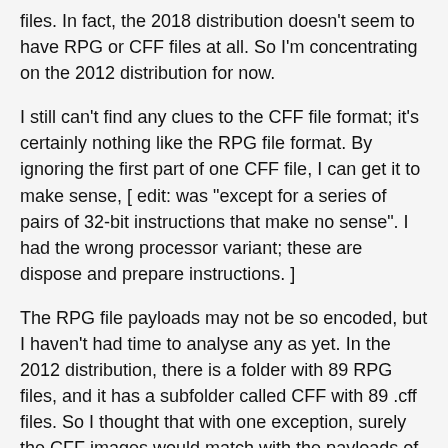files. In fact, the 2018 distribution doesn't seem to have RPG or CFF files at all. So I'm concentrating on the 2012 distribution for now.
I still can't find any clues to the CFF file format; it's certainly nothing like the RPG file format. By ignoring the first part of one CFF file, I can get it to make sense, [ edit: was "except for a series of pairs of 32-bit instructions that make no sense". I had the wrong processor variant; these are dispose and prepare instructions. ]
The RPG file payloads may not be so encoded, but I haven't had time to analyse any as yet. In the 2012 distribution, there is a folder with 89 RPG files, and it has a subfolder called CFF with 89 .cff files. So I thought that with one exception, surely the CFF images would match with the payloads of the RPG images. And perhaps (this seems like wishful thinking now that I type this), the RPG payloads might not be mangled as the